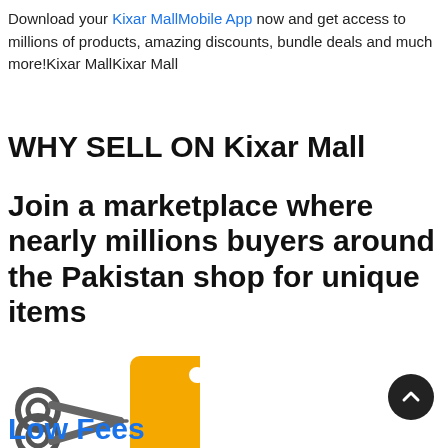Download your Kixar MallMobile App now and get access to millions of products, amazing discounts, bundle deals and much more!Kixar MallKixar Mall
WHY SELL ON Kixar Mall
Join a marketplace where nearly millions buyers around the Pakistan shop for unique items
[Figure (illustration): Scissors and price tag icon — scissors in dark grey cutting a dashed line toward a golden/yellow price tag with a circular hole at top]
Low Fees